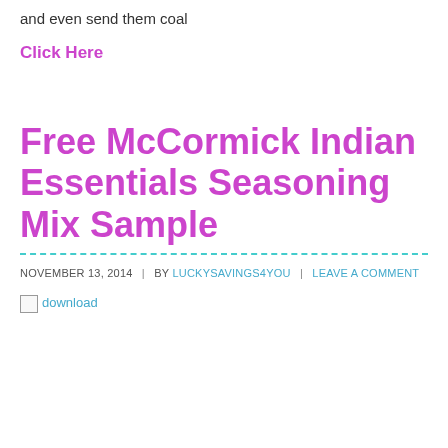and even send them coal
Click Here
Free McCormick Indian Essentials Seasoning Mix Sample
NOVEMBER 13, 2014 | BY LUCKYSAVINGS4YOU | LEAVE A COMMENT
[Figure (photo): download image placeholder (broken image icon with alt text 'download')]